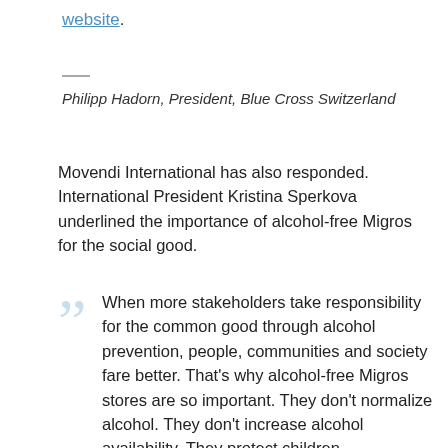website.
Philipp Hadorn, President, Blue Cross Switzerland
Movendi International has also responded. International President Kristina Sperkova underlined the importance of alcohol-free Migros for the social good.
When more stakeholders take responsibility for the common good through alcohol prevention, people, communities and society fare better. That’s why alcohol-free Migros stores are so important. They don’t normalize alcohol. They don’t increase alcohol availability. They protect children